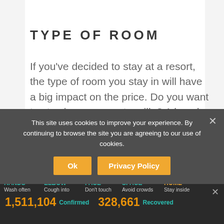TYPE OF ROOM
If you've decided to stay at a resort, the type of room you stay in will have a big impact on the price. Do you want to stay in an overwater villa? A beach villa? A treehouse overlooking the ocean? All these
This site uses cookies to improve your experience. By continuing to browse the site you are agreeing to our use of cookies.
Ok
Privacy Policy
Spread the message. Stop the virus.
HANDS Wash often  ELBOW Cough into  FACE Don't touch  SPACE Avoid crowds  HOME Stay inside
1,511,104 Confirmed  328,661 Recovered